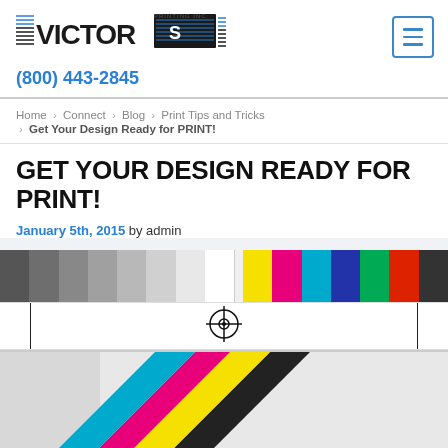[Figure (logo): Victor Printing Inc. logo with horizontal lines and company name]
(800) 443-2845
Home > Connect > Blog > Print Tips and Tricks > Get Your Design Ready for PRINT!
GET YOUR DESIGN READY FOR PRINT!
January 5th, 2015 by admin
[Figure (other): Print color test strip with grayscale swatches on left and CMYK color swatches on right, plus registration mark row below]
[Figure (photo): CMYK color stripes (cyan, magenta, yellow, black) printed diagonally on light gray background]